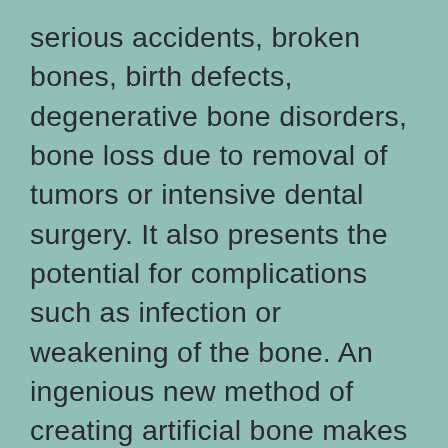serious accidents, broken bones, birth defects, degenerative bone disorders, bone loss due to removal of tumors or intensive dental surgery. It also presents the potential for complications such as infection or weakening of the bone. An ingenious new method of creating artificial bone makes use of something many people have in their home: an inkjet printer. Many systems use an electroencephalograph (EEG) to get a glimpse of what's going on inside your noggin. We might not be able to get rid of cancer because there's not a way to change the cell structure at such a fundamental level.